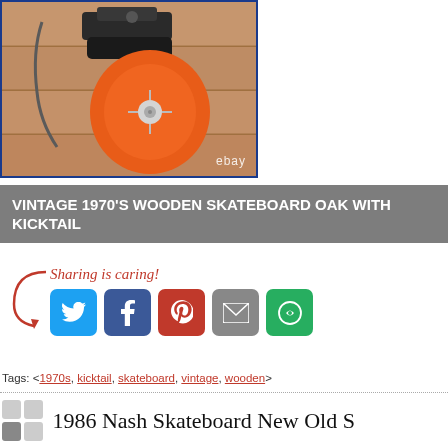[Figure (photo): Close-up photo of a vintage skateboard with an orange wheel and black trucks against a wooden background, with 'ebay' watermark]
VINTAGE 1970'S WOODEN SKATEBOARD OAK WITH KICKTAIL
[Figure (infographic): Sharing is caring! social share buttons: Twitter, Facebook, Pinterest, Email, More]
Tags: <1970s, kicktail, skateboard, vintage, wooden>
1986 Nash Skateboard New Old S Nightmare Made in Ft. Worth Texas Vintage